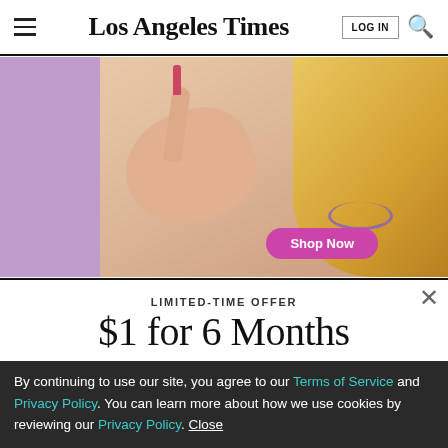Los Angeles Times
[Figure (photo): Advertisement photo of a blonde woman holding a lipstick against a purple background with a 'Shop Now' button]
LIMITED-TIME OFFER
$1 for 6 Months
SUBSCRIBE NOW
By continuing to use our site, you agree to our Terms of Service and Privacy Policy. You can learn more about how we use cookies by reviewing our Privacy Policy. Close